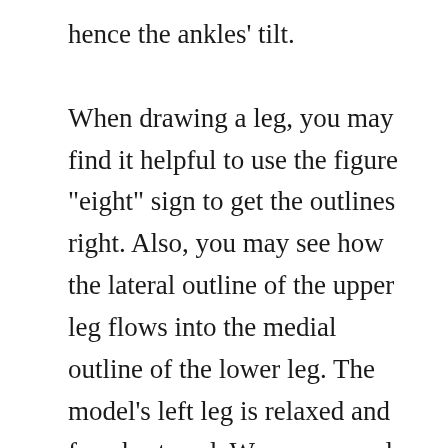hence the ankles' tilt.

When drawing a leg, you may find it helpful to use the figure "eight" sign to get the outlines right. Also, you may see how the lateral outline of the upper leg flows into the medial outline of the lower leg. The model's left leg is relaxed and foreshortened. We use an oval to depict the calf muscle, drawing it as if the left leg were transparent, and we could see through it. Here's one good tip for drawing an arm resting on a hip. Start with the hand. Make sure it lies on the hip properly and only then continue with the forearm. The bones of the forearm are in the pronation position. This means that the elbow bone